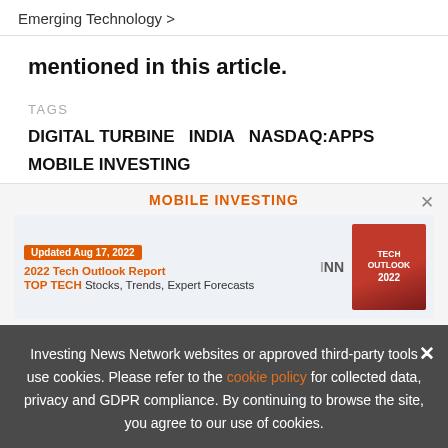Emerging Technology >
mentioned in this article.
TAGS
DIGITAL TURBINE  INDIA  NASDAQ:APPS  MOBILE INVESTING
MOBILE INVESTING
[Figure (screenshot): Promotional card: Updated Aug 17, 2022. 2022 Tech Outlook Report. TOP TECH Stocks, Trends, Expert Forecasts. INN logo. Tech Outlook 2022 book cover image.]
Investing News Network websites or approved third-party tools use cookies. Please refer to the cookie policy for collected data, privacy and GDPR compliance. By continuing to browse the site, you agree to our use of cookies.